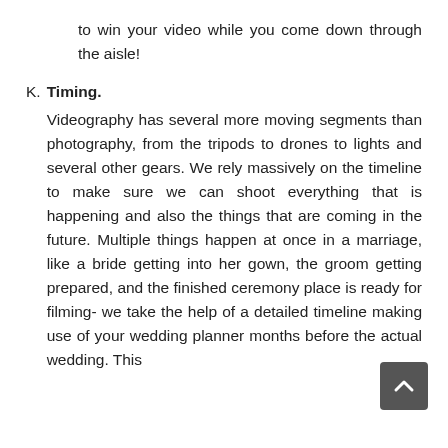to win your video while you come down through the aisle!
K. Timing. Videography has several more moving segments than photography, from the tripods to drones to lights and several other gears. We rely massively on the timeline to make sure we can shoot everything that is happening and also the things that are coming in the future. Multiple things happen at once in a marriage, like a bride getting into her gown, the groom getting prepared, and the finished ceremony place is ready for filming- we take the help of a detailed timeline making use of your wedding planner months before the actual wedding. This